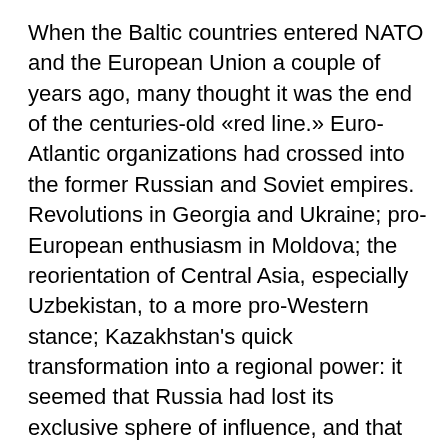When the Baltic countries entered NATO and the European Union a couple of years ago, many thought it was the end of the centuries-old «red line.» Euro-Atlantic organizations had crossed into the former Russian and Soviet empires. Revolutions in Georgia and Ukraine; pro-European enthusiasm in Moldova; the reorientation of Central Asia, especially Uzbekistan, to a more pro-Western stance; Kazakhstan's quick transformation into a regional power: it seemed that Russia had lost its exclusive sphere of influence, and that «geopolitical pluralism» had won out across the former Soviet Union. It seemed that the empire could never again be rebuilt as it